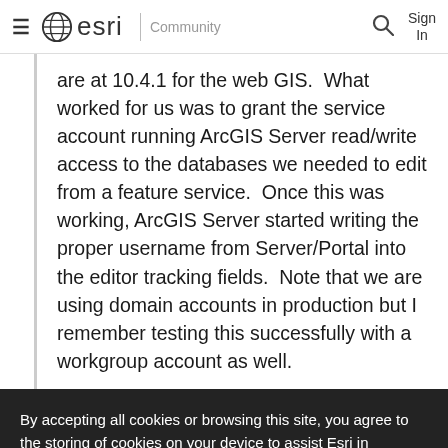≡ esri | Community   🔍 Sign In
are at 10.4.1 for the web GIS.  What worked for us was to grant the service account running ArcGIS Server read/write access to the databases we needed to edit from a feature service.  Once this was working, ArcGIS Server started writing the proper username from Server/Portal into the editor tracking fields.  Note that we are using domain accounts in production but I remember testing this successfully with a workgroup account as well.
By accepting all cookies or browsing this site, you agree to the storing of cookies on your device to assist Esri in analyzing visitor behavior, improving your experience, and delivering tailored advertising on and off our sites. Manage cookies here or at the bottom of any page.